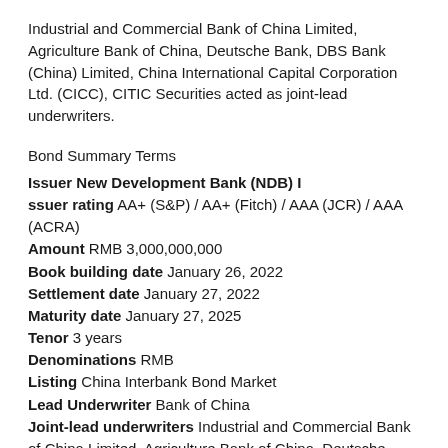Industrial and Commercial Bank of China Limited, Agriculture Bank of China, Deutsche Bank, DBS Bank (China) Limited, China International Capital Corporation Ltd. (CICC), CITIC Securities acted as joint-lead underwriters.
Bond Summary Terms
Issuer New Development Bank (NDB) Issuer rating AA+ (S&P) / AA+ (Fitch) / AAA (JCR) / AAA (ACRA) Amount RMB 3,000,000,000 Book building date January 26, 2022 Settlement date January 27, 2022 Maturity date January 27, 2025 Tenor 3 years Denominations RMB Listing China Interbank Bond Market Lead Underwriter Bank of China Joint-lead underwriters Industrial and Commercial Bank of China Limited, Agriculture Bank of China, Deutsche Bank, DBS Bank (China) Limited, China International Capital Corporation Ltd. (CICC), CITIC Securities